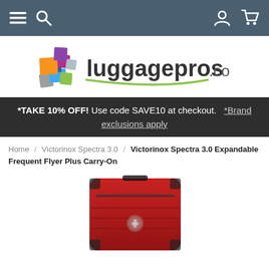Navigation bar with menu, search, account, and cart icons
[Figure (logo): luggagepros.com logo with colorful stacked squares icon and green underline]
*TAKE 10% OFF! Use code SAVE10 at checkout. *Brand exclusions apply
Home / Victorinox Spectra 3.0 / Victorinox Spectra 3.0 Expandable Frequent Flyer Plus Carry-On
[Figure (photo): Red Victorinox Spectra 3.0 Expandable Frequent Flyer Plus Carry-On hard-sided luggage, viewed from the front at a slight angle]